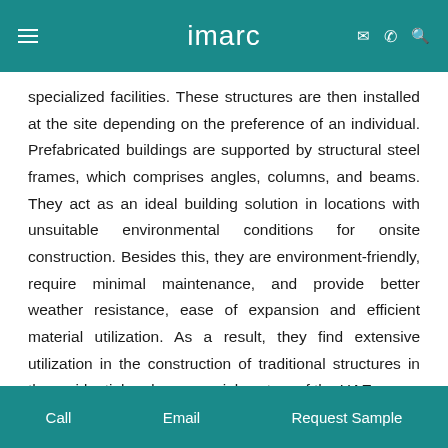imarc
specialized facilities. These structures are then installed at the site depending on the preference of an individual. Prefabricated buildings are supported by structural steel frames, which comprises angles, columns, and beams. They act as an ideal building solution in locations with unsuitable environmental conditions for onsite construction. Besides this, they are environment-friendly, require minimal maintenance, and provide better weather resistance, ease of expansion and efficient material utilization. As a result, they find extensive utilization in the construction of traditional structures in the residential and commercial sectors of the UAE.
Call   Email   Request Sample